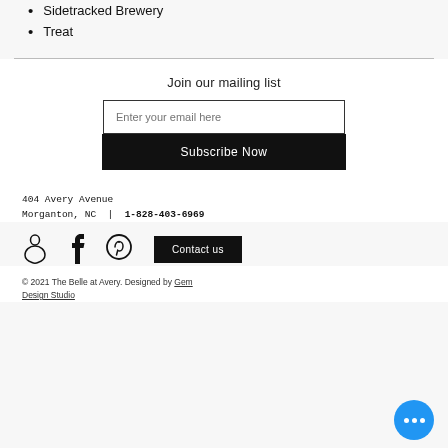Sidetracked Brewery
Treat
Join our mailing list
Enter your email here
Subscribe Now
404 Avery Avenue
Morganton, NC | 1-828-403-6969
[Figure (other): Social media icons: Airbnb, Facebook, Pinterest, and Contact us button]
© 2021 The Belle at Avery. Designed by Gem Design Studio